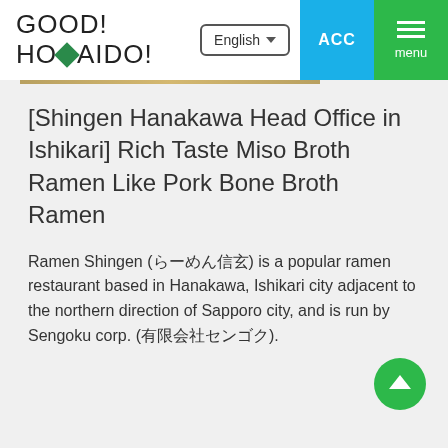GOOD! HOMAIDO!
[Shingen Hanakawa Head Office in Ishikari] Rich Taste Miso Broth Ramen Like Pork Bone Broth Ramen
Ramen Shingen (らーめん信玄) is a popular ramen restaurant based in Hanakawa, Ishikari city adjacent to the northern direction of Sapporo city, and is run by Sengoku corp. (有限会社センゴク).